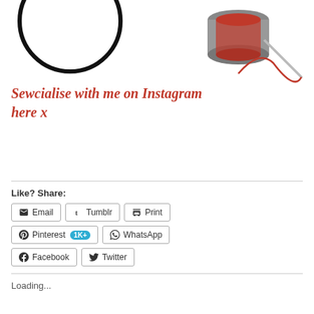[Figure (illustration): Partial view of sewing items: a spool of thread with red thread and a needle on the right, and a circular ring/embroidery hoop outline on the left, on a white background.]
Sewcialise with me on Instagram here x
Like? Share:
Email  Tumblr  Print  Pinterest 1K+  WhatsApp  Facebook  Twitter
Loading...